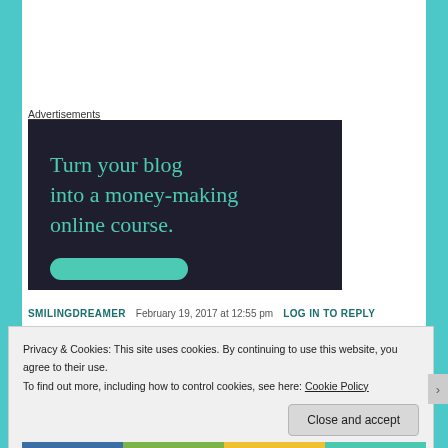Advertisements
[Figure (illustration): Dark navy advertisement banner with teal text reading 'Turn your blog into a money-making online course.' and a teal button at the bottom.]
SMILINGDREAMER   February 19, 2017 at 12:55 pm   LOG IN TO REPLY
Privacy & Cookies: This site uses cookies. By continuing to use this website, you agree to their use.
To find out more, including how to control cookies, see here: Cookie Policy
Close and accept